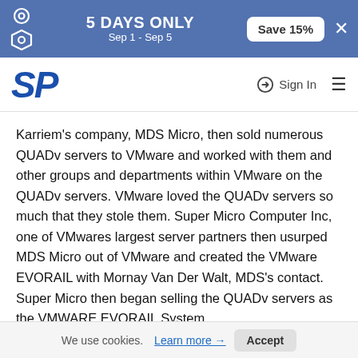[Figure (screenshot): Top promotional banner with blue background showing '5 DAYS ONLY Sep 1 - Sep 5' and 'Save 15%' button with close X and gear icons]
[Figure (logo): SP logo in blue italic bold font with Sign In and hamburger menu]
Karriem's company, MDS Micro, then sold numerous QUADv servers to VMware and worked with them and other groups and departments within VMware on the QUADv servers. VMware loved the QUADv servers so much that they stole them. Super Micro Computer Inc, one of VMwares largest server partners then usurped MDS Micro out of VMware and created the VMware EVORAIL with Mornay Van Der Walt, MDS's contact. Super Micro then began selling the QUADv servers as the VMWARE EVORAIL System.
The QUADv server systems integrated with the Vmware software created a full redundant virtual appliance in a box worth over $100 million in revenues. Super Micro also
We use cookies. Learn more → Accept